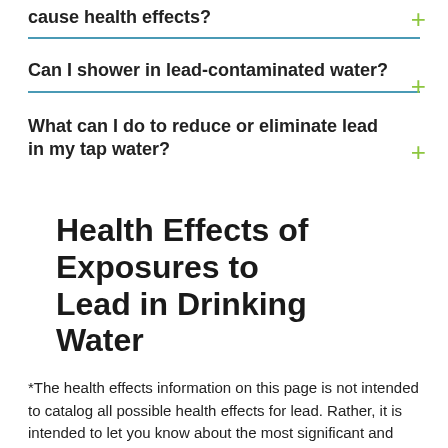cause health effects?
Can I shower in lead-contaminated water?
What can I do to reduce or eliminate lead in my tap water?
Health Effects of Exposures to Lead in Drinking Water
*The health effects information on this page is not intended to catalog all possible health effects for lead. Rather, it is intended to let you know about the most significant and probable health effects